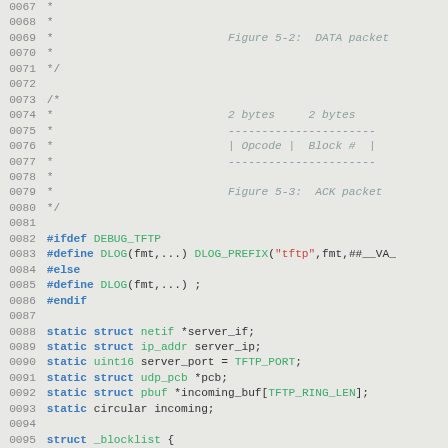[Figure (screenshot): Source code listing (C) with line numbers 0067-0097, showing comment blocks with ASCII diagram figures and C preprocessor directives and variable declarations]